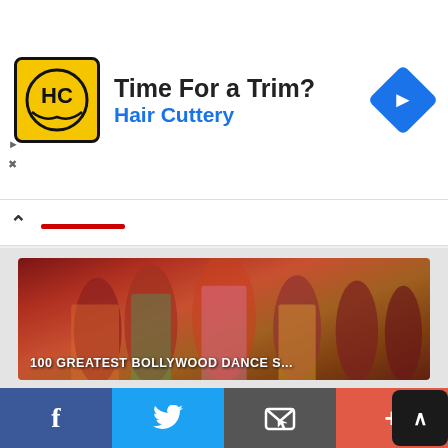[Figure (screenshot): Advertisement banner for Hair Cuttery with yellow HC logo, headline 'Time For a Trim?', blue 'Hair Cuttery' text, and a blue diamond arrow icon on the right.]
[Figure (screenshot): Navigation bar with up chevron and red underline tab indicator.]
[Figure (screenshot): Playlist card showing Bollywood dancers with label '100 GREATEST BOLLYWOOD DANCE S...']
[Figure (screenshot): Playlist card with 'BEST ITEM SONGS OF BOLLYWOOD' text overlay and a dancer, labeled '100 GREATEST BOLLYWOOD ITEM SO...']
[Figure (screenshot): Social sharing bar at bottom with Facebook, Twitter, Email, and More buttons, plus an up arrow button.]